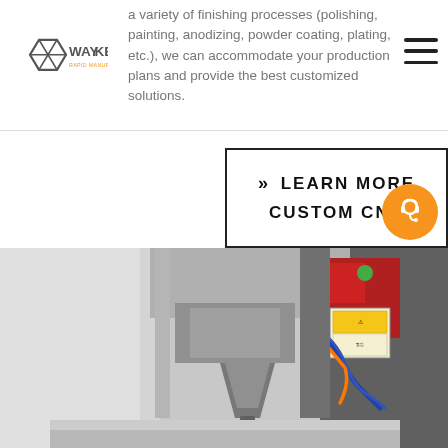WayKen Rapid Manufacturing
a variety of finishing processes (polishing, painting, anodizing, powder coating, plating, etc.), we can accommodate your production plans and provide the best customized solutions.
» LEARN MORE CUSTOM CNC
[Figure (photo): CNC milling machine head close-up in workshop, with coolant hoses and warning labels visible on the machine body]